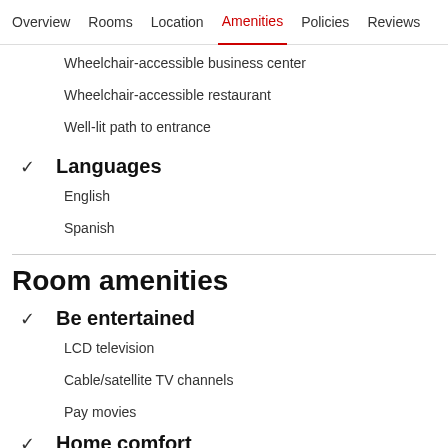Overview  Rooms  Location  Amenities  Policies  Reviews
Wheelchair-accessible business center
Wheelchair-accessible restaurant
Well-lit path to entrance
✓ Languages
English
Spanish
Room amenities
✓ Be entertained
LCD television
Cable/satellite TV channels
Pay movies
✓ Home comfort